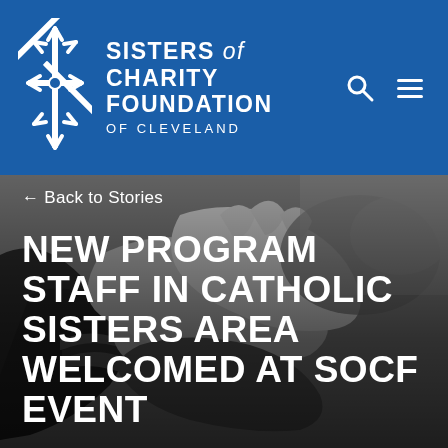[Figure (logo): Sisters of Charity Foundation of Cleveland logo — white star/snowflake icon with organization name in white text on blue background header, with search and menu icons.]
← Back to Stories
[Figure (photo): Black and white photograph of multiple hands joined together, appearing to be people holding hands in a circle or group gesture, with blurred outdoor background.]
NEW PROGRAM STAFF IN CATHOLIC SISTERS AREA WELCOMED AT SOCF EVENT